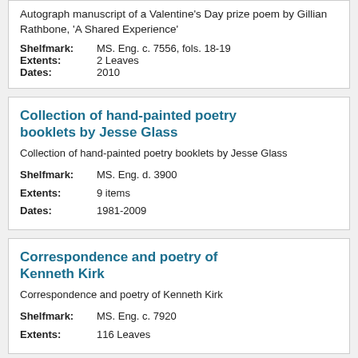Autograph manuscript of a Valentine's Day prize poem by Gillian Rathbone, 'A Shared Experience'
Shelfmark: MS. Eng. c. 7556, fols. 18-19
Extents: 2 Leaves
Dates: 2010
Collection of hand-painted poetry booklets by Jesse Glass
Collection of hand-painted poetry booklets by Jesse Glass
Shelfmark: MS. Eng. d. 3900
Extents: 9 items
Dates: 1981-2009
Correspondence and poetry of Kenneth Kirk
Correspondence and poetry of Kenneth Kirk
Shelfmark: MS. Eng. c. 7920
Extents: 116 Leaves